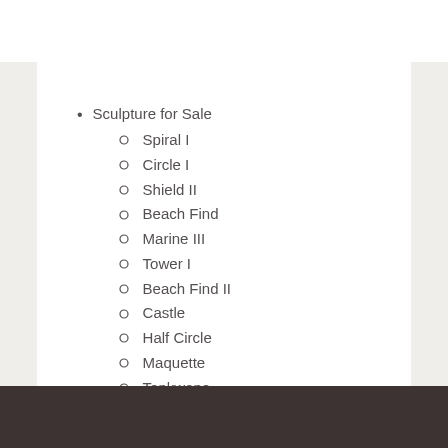Sculpture for Sale
Spiral I
Circle I
Shield II
Beach Find
Marine III
Tower I
Beach Find II
Castle
Half Circle
Maquette
Tonkwane
Pine